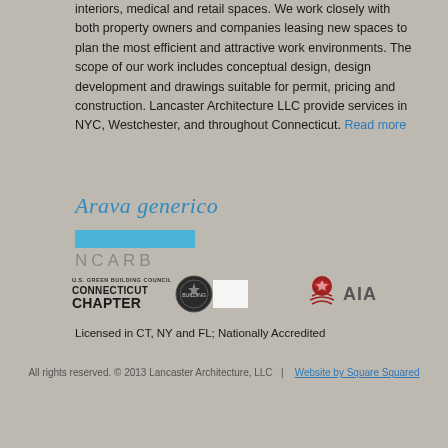interiors, medical and retail spaces. We work closely with both property owners and companies leasing new spaces to plan the most efficient and attractive work environments. The scope of our work includes conceptual design, design development and drawings suitable for permit, pricing and construction. Lancaster Architecture LLC provide services in NYC, Westchester, and throughout Connecticut. Read more
[Figure (logo): Arava generico italic blue logo text]
[Figure (logo): NCARB logo with blue bar above grey NCARB letters]
[Figure (logo): U.S. Green Building Council Connecticut Chapter logo with circular seal and AIA logo with red wheat/leaf icon]
Licensed in CT, NY and FL; Nationally Accredited
All rights reserved. © 2013 Lancaster Architecture, LLC   |   Website by Square Squared